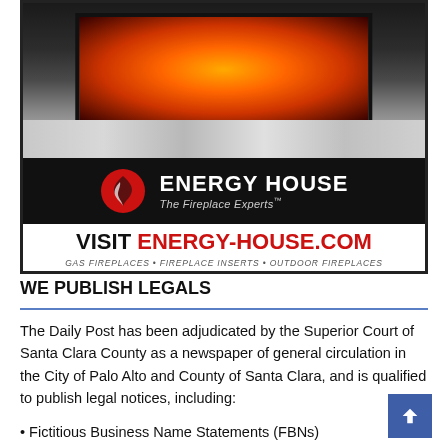[Figure (photo): Energy House fireplace advertisement showing a lit gas fireplace with granite surround, black Energy House logo bar with red flame icon, and contact information. Text reads: VISIT ENERGY-HOUSE.COM, GAS FIREPLACES • FIREPLACE INSERTS • OUTDOOR FIREPLACES, 1300 INDUSTRIAL WAY #17, SAN CARLOS, (650) 593-1496]
WE PUBLISH LEGALS
The Daily Post has been adjudicated by the Superior Court of Santa Clara County as a newspaper of general circulation in the City of Palo Alto and County of Santa Clara, and is qualified to publish legal notices, including:
• Fictitious Business Name Statements (FBNs)